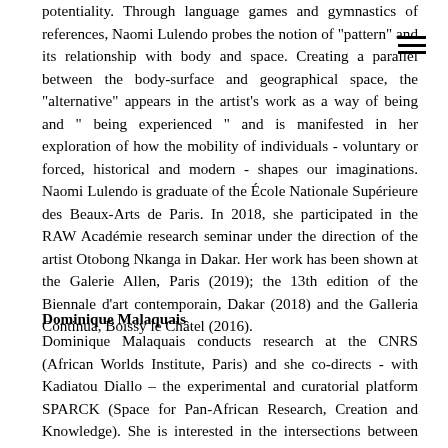potentiality. Through language games and gymnastics of references, Naomi Lulendo probes the notion of "pattern" and its relationship with body and space. Creating a parallel between the body-surface and geographical space, the "alternative" appears in the artist's work as a way of being and " being experienced " and is manifested in her exploration of how the mobility of individuals - voluntary or forced, historical and modern - shapes our imaginations. Naomi Lulendo is graduate of the École Nationale Supérieure des Beaux-Arts de Paris. In 2018, she participated in the RAW Académie research seminar under the direction of the artist Otobong Nkanga in Dakar. Her work has been shown at the Galerie Allen, Paris (2019); the 13th edition of the Biennale d'art contemporain, Dakar (2018) and the Galleria Continua, Boissy le Châtel (2016).
Dominique Malaquais
Dominique Malaquais conducts research at the CNRS (African Worlds Institute, Paris) and she co-directs - with Kadiatou Diallo – the experimental and curatorial platform SPARCK (Space for Pan-African Research, Creation and Knowledge). She is interested in the intersections between political violence, economic